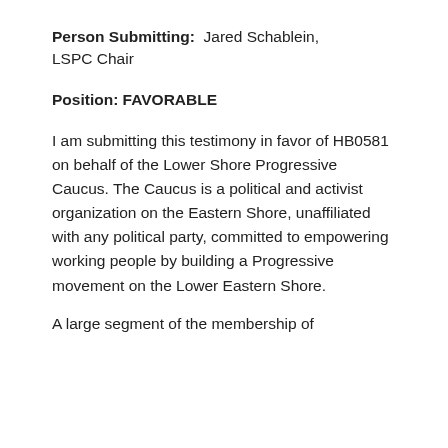Person Submitting: Jared Schablein, LSPC Chair
Position: FAVORABLE
I am submitting this testimony in favor of HB0581 on behalf of the Lower Shore Progressive Caucus. The Caucus is a political and activist organization on the Eastern Shore, unaffiliated with any political party, committed to empowering working people by building a Progressive movement on the Lower Eastern Shore.
A large segment of the membership of